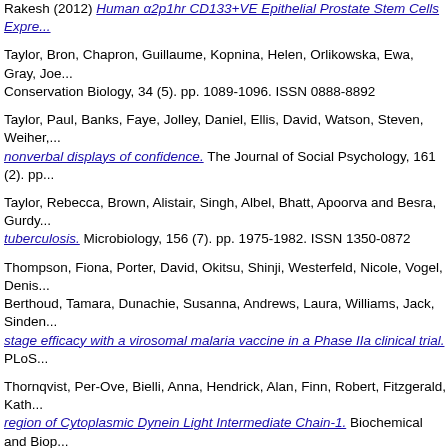Rakesh (2012) Human α2p1hr CD133+VE Epithelial Prostate Stem Cells Expre...
Taylor, Bron, Chapron, Guillaume, Kopnina, Helen, Orlikowska, Ewa, Gray, Joe... Conservation Biology, 34 (5). pp. 1089-1096. ISSN 0888-8892
Taylor, Paul, Banks, Faye, Jolley, Daniel, Ellis, David, Watson, Steven, Weiher,... nonverbal displays of confidence. The Journal of Social Psychology, 161 (2). pp...
Taylor, Rebecca, Brown, Alistair, Singh, Albel, Bhatt, Apoorva and Besra, Gurdy... tuberculosis. Microbiology, 156 (7). pp. 1975-1982. ISSN 1350-0872
Thompson, Fiona, Porter, David, Okitsu, Shinji, Westerfeld, Nicole, Vogel, Denis... Berthoud, Tamara, Dunachie, Susanna, Andrews, Laura, Williams, Jack, Sinden... stage efficacy with a virosomal malaria vaccine in a Phase IIa clinical trial. PLoS...
Thornqvist, Per-Ove, Bielli, Anna, Hendrick, Alan, Finn, Robert, Fitzgerald, Kath... region of Cytoplasmic Dynein Light Intermediate Chain-1. Biochemical and Biop...
Tibbitt, Chris, Falconer, Jane, van Eden, Willem, Robinson, John H. and Hilkens... cells. Immunology, 140 (S1). p. 149. ISSN 0019-2805
Tiwary, Abhishek and Colls, Jeremy (2004) Measurements of atmospheric aero... Monitoring, 6 (9). p. 734. ISSN 1464-0325
Tiwary, Abhishek, Fuentes, José, Barr, Jordan, Wang, Daniel and Colls, Jeremy... Environmental Modelling & Software, 22 (9). pp. 1281-1293. ISSN 1364-8152
Tiwary, Abhishek, Morvan, Hervé and Colls, Jeremy (2006) Modelling the size-c... Science, 37 (8). pp. 990-1015. ISSN 0021-8502
Todryk, Stephen (2010) A natural immunization process prevents malaria. Trend...